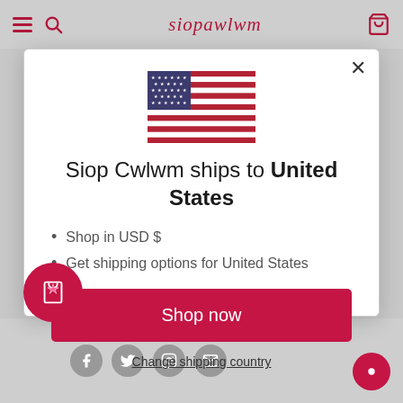siopawlwm
[Figure (illustration): US flag emoji/illustration]
Siop Cwlwm ships to United States
Shop in USD $
Get shipping options for United States
Shop now
Change shipping country
Social icons: Facebook, Twitter, Instagram, Email